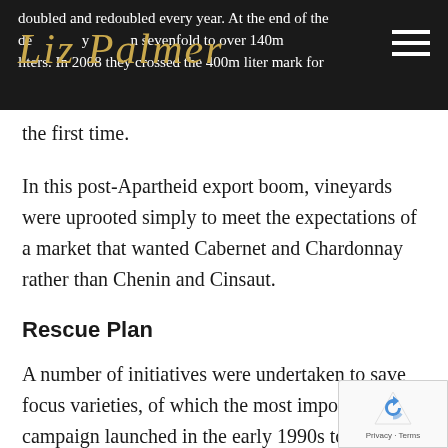Liz Palmer [logo/brand name in header bar]
doubled and redoubled every year. At the end of the decade they had grown sevenfold to over 140m liters. In 2008 they crossed the 400m liter mark for the first time.
In this post-Apartheid export boom, vineyards were uprooted simply to meet the expectations of a market that wanted Cabernet and Chardonnay rather than Chenin and Cinsaut.
Rescue Plan
A number of initiatives were undertaken to save focus varieties, of which the most important w... campaign launched in the early 1990s to pres...